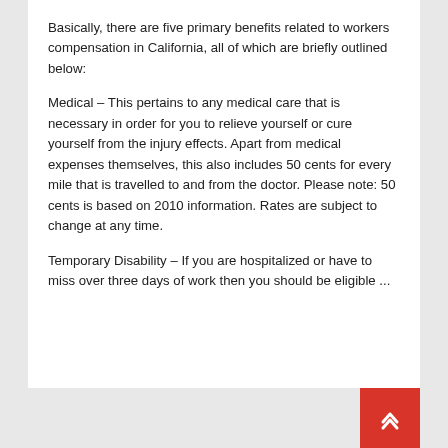Basically, there are five primary benefits related to workers compensation in California, all of which are briefly outlined below:
Medical – This pertains to any medical care that is necessary in order for you to relieve yourself or cure yourself from the injury effects. Apart from medical expenses themselves, this also includes 50 cents for every mile that is travelled to and from the doctor. Please note: 50 cents is based on 2010 information. Rates are subject to change at any time.
Temporary Disability – If you are hospitalized or have to miss over three days of work then you should be eligible ...